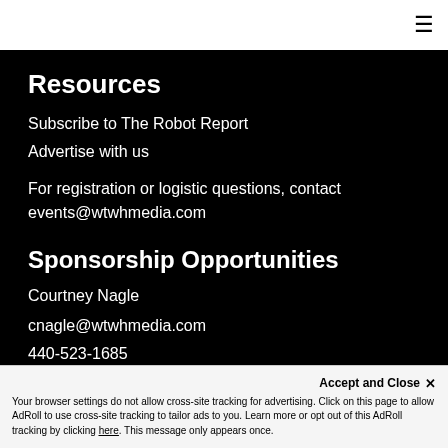≡
Resources
Subscribe to The Robot Report
Advertise with us
For registration or logistic questions, contact events@wtwhmedia.com
Sponsorship Opportunities
Courtney Nagle
cnagle@wtwhmedia.com
440-523-1685
Accept and Close ✕ Your browser settings do not allow cross-site tracking for advertising. Click on this page to allow AdRoll to use cross-site tracking to tailor ads to you. Learn more or opt out of this AdRoll tracking by clicking here. This message only appears once.